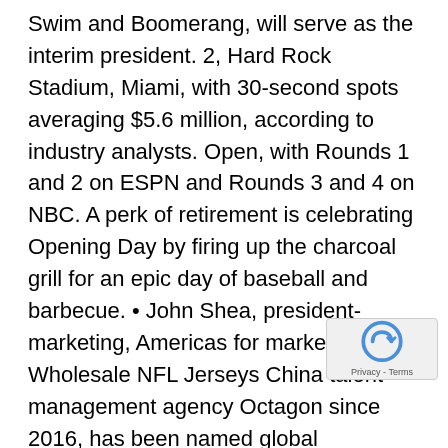Swim and Boomerang, will serve as the interim president. 2, Hard Rock Stadium, Miami, with 30-second spots averaging $5.6 million, according to industry analysts. Open, with Rounds 1 and 2 on ESPN and Rounds 3 and 4 on NBC. A perk of retirement is celebrating Opening Day by firing up the charcoal grill for an epic day of baseball and barbecue. • John Shea, president-marketing, Americas for marketing and Wholesale NFL Jerseys China talent management agency Octagon since 2016, has been named global president-marketing and events, Octagon Worldwide. • Anheuser-Busch InBev • Avocados From Mexico • Coca-Cola • Hyundai 60-second spot Q2 Despite the significant changes in consumers' media habits, the Super Bowl still stands on its own as the best way to reach NBA Jerseys For Sale a sizeable and engaged audience looking to New Nike NFL Jerseys be entertained by brands, Angela Zepeda, CMO, Hyundai Motor America, said via the company. The series is under the auspices of Rob Dyrdek and Shane Nickerson Superjacket Productions, who also produce on MTV, who the failures and flubs of people via Internet videos, but of the